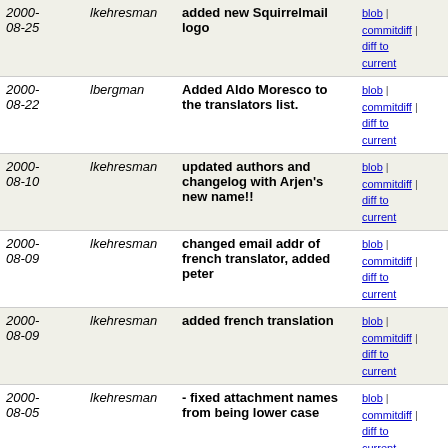| Date | Author | Message | Links |
| --- | --- | --- | --- |
| 2000-08-25 | lkehresman | added new Squirrelmail logo | blob | commitdiff | diff to current |
| 2000-08-22 | lbergman | Added Aldo Moresco to the translators list. | blob | commitdiff | diff to current |
| 2000-08-10 | lkehresman | updated authors and changelog with Arjen's new name!! | blob | commitdiff | diff to current |
| 2000-08-09 | lkehresman | changed email addr of french translator, added peter | blob | commitdiff | diff to current |
| 2000-08-09 | lkehresman | added french translation | blob | commitdiff | diff to current |
| 2000-08-05 | lkehresman | - fixed attachment names from being lower case | blob | commitdiff | diff to current |
| 2000-07-27 | lkehresman | fixed problem with sending subjects with a '. | blob | commitdiff | diff to current |
| 2000-07-24 | lkehresman | - removed BUG and TODO since we use SourceForge now, | blob | commitdiff | diff to current |
| 2000-07-24 | gustavf | Added Portugese (Brazil) translation from Henrique... | blob | commitdiff | diff to current |
| 2000-07-24 | gustavf | Added Dutch translation from Arjen Halma. | blob | commitdiff | diff to current |
| 2000- | lbergman | Added Tobias to list of | blob | commitdiff |